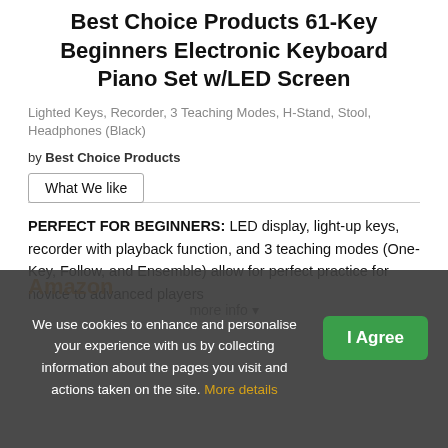Best Choice Products 61-Key Beginners Electronic Keyboard Piano Set w/LED Screen
Lighted Keys, Recorder, 3 Teaching Modes, H-Stand, Stool, Headphones (Black)
by Best Choice Products
What We like
PERFECT FOR BEGINNERS: LED display, light-up keys, recorder with playback function, and 3 teaching modes (One-Key, Follow, and Ensemble) allow for perfect practice for novice to advanced players
We use cookies to enhance and personalise your experience with us by collecting information about the pages you visit and actions taken on the site. More details
I Agree